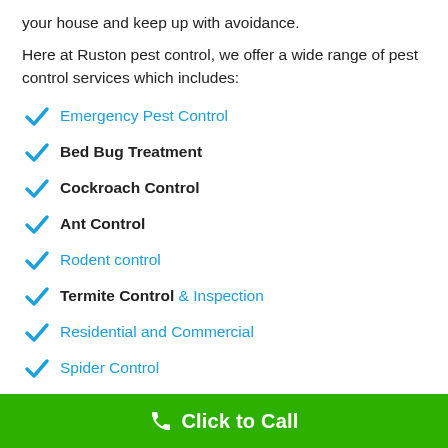your house and keep up with avoidance.
Here at Ruston pest control, we offer a wide range of pest control services which includes:
Emergency Pest Control
Bed Bug Treatment
Cockroach Control
Ant Control
Rodent control
Termite Control & Inspection
Residential and Commercial
Spider Control
Mosquito control
Wildlife Control
Click to Call